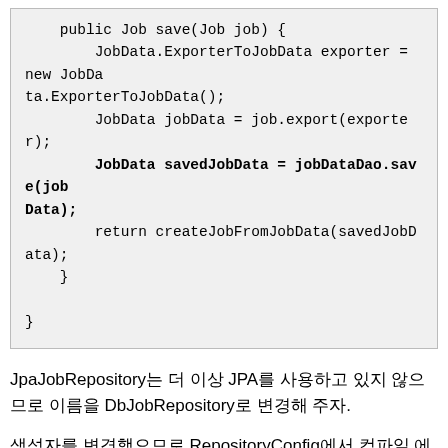[Figure (screenshot): Code block showing Java method: public Job save(Job job) with JobData.ExporterToJobData exporter = new JobData.ExporterToJobData(); JobData jobData = job.export(exporter); JobData savedJobData = jobDataDao.save(jobData); return createJobFromJobData(savedJobData); } }]
JpaJobRepository는 더 이상 JPA를 사용하고 있지 않으므로 이름을 DbJobRepository로 변경해 주자.
생성자를 변경했으므로 RepositoryConfig에서 컴파일 에러가 발생한다. 이제 RepositoryConfig에서 컴파일 에러를 없애주자.